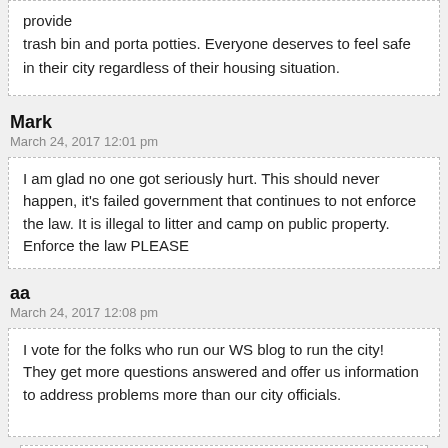provide
trash bin and porta potties. Everyone deserves to feel safe in their city regardless of their housing situation.
Mark
March 24, 2017 12:01 pm
I am glad no one got seriously hurt. This should never happen, it's failed government that continues to not enforce the law. It is illegal to litter and camp on public property.  Enforce the law PLEASE
aa
March 24, 2017 12:08 pm
I vote for the folks who run our WS blog to run the city!  They get more questions answered and offer us information to address problems more than our city officials.
WSB